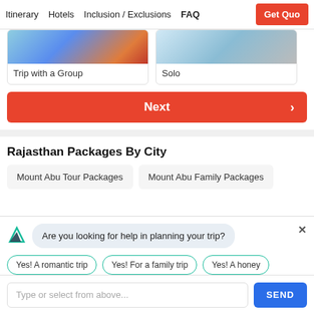Itinerary   Hotels   Inclusion / Exclusions   FAQ   Get Quote
Trip with a Group
Solo
Next
Rajasthan Packages By City
Mount Abu Tour Packages
Mount Abu Family Packages
Are you looking for help in planning your trip?
Yes! A romantic trip
Yes! For a family trip
Yes! A honey
Type or select from above...
SEND